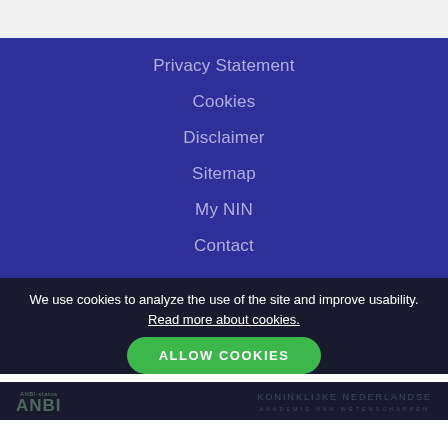Privacy Statement
Cookies
Disclaimer
Sitemap
My NIN
Contact
We use cookies to analyze the use of the site and improve usability. Read more about cookies.
ALLOW COOKIES
[Figure (logo): ANBI logo]
[Figure (logo): Koninklijke Nederlandse Akademie van Wetenschappen logo]